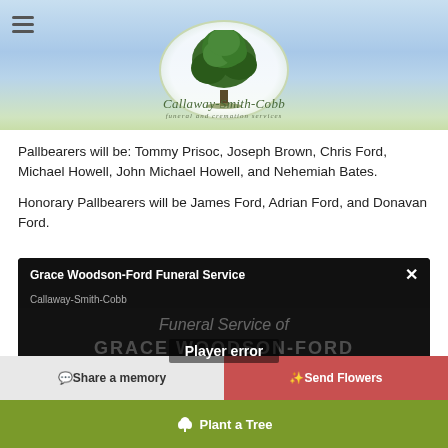[Figure (logo): Callaway-Smith-Cobb Funeral and Cremation Services logo with tree inside oval]
Pallbearers will be: Tommy Prisoc, Joseph Brown, Chris Ford, Michael Howell, John Michael Howell, and Nehemiah Bates.
Honorary Pallbearers will be James Ford, Adrian Ford, and Donavan Ford.
[Figure (screenshot): Video player overlay showing Grace Woodson-Ford Funeral Service with Player error message, Callaway-Smith-Cobb subtitle]
Share a memory
Send Flowers
Plant a Tree